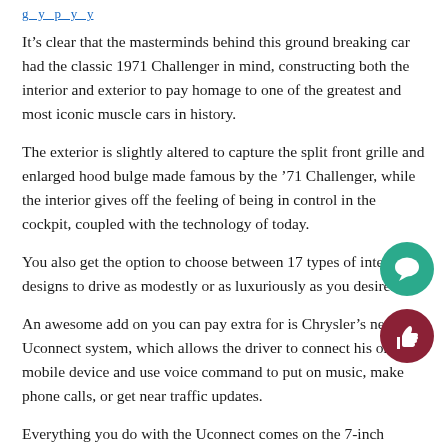It’s clear that the masterminds behind this ground breaking car had the classic 1971 Challenger in mind, constructing both the interior and exterior to pay homage to one of the greatest and most iconic muscle cars in history.
The exterior is slightly altered to capture the split front grille and enlarged hood bulge made famous by the ’71 Challenger, while the interior gives off the feeling of being in control in the cockpit, coupled with the technology of today.
You also get the option to choose between 17 types of interior designs to drive as modestly or as luxuriously as you desire.
An awesome add on you can pay extra for is Chrysler’s new Uconnect system, which allows the driver to connect his or her mobile device and use voice command to put on music, make phone calls, or get near traffic updates.
Everything you do with the Uconnect comes on the 7-inch digital display that comes standard on all models.